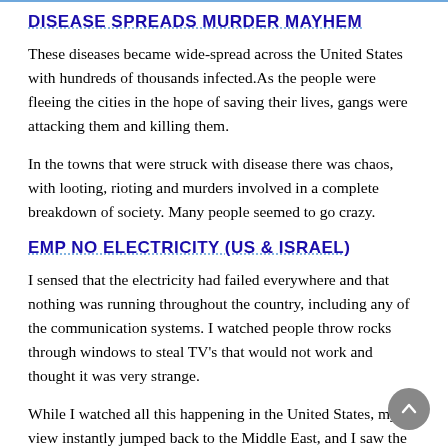DISEASE SPREADS MURDER MAYHEM
These diseases became wide-spread across the United States with hundreds of thousands infected.As the people were fleeing the cities in the hope of saving their lives, gangs were attacking them and killing them.
In the towns that were struck with disease there was chaos, with looting, rioting and murders involved in a complete breakdown of society. Many people seemed to go crazy.
EMP NO ELECTRICITY (US & ISRAEL)
I sensed that the electricity had failed everywhere and that nothing was running throughout the country, including any of the communication systems. I watched people throw rocks through windows to steal TV's that would not work and thought it was very strange.
While I watched all this happening in the United States, my view instantly jumped back to the Middle East, and I saw the same thing taking place in Israel. The same sores and the same types of sickness and disease that were plaguing the